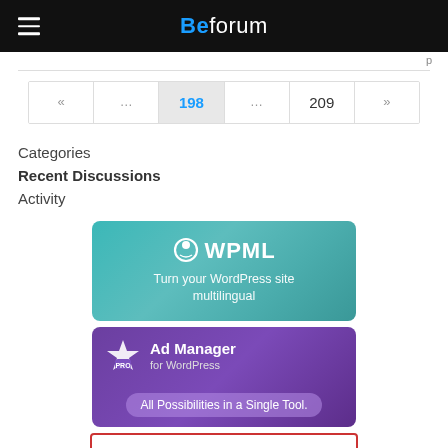Beforum
« ... 198 ... 209 »
Categories
Recent Discussions
Activity
[Figure (illustration): WPML banner: teal gradient background with WPML logo and text 'Turn your WordPress site multilingual']
[Figure (illustration): ADS PRO Ad Manager for WordPress banner: purple gradient background with star logo and text 'All Possibilities in a Single Tool.']
[Figure (illustration): Partially visible red-bordered white box at bottom]